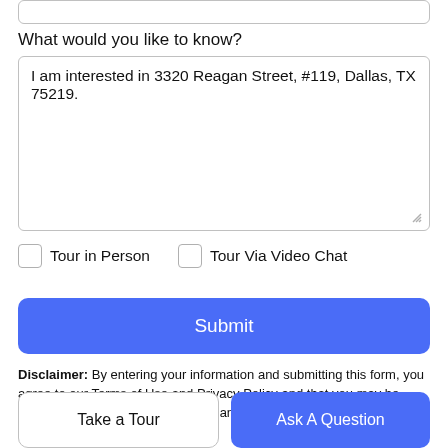What would you like to know?
I am interested in 3320 Reagan Street, #119, Dallas, TX 75219.
Tour in Person
Tour Via Video Chat
Submit
Disclaimer: By entering your information and submitting this form, you agree to our Terms of Use and Privacy Policy and that you may be contacted by phone, text message and email about your inquiry.
Take a Tour
Ask A Question